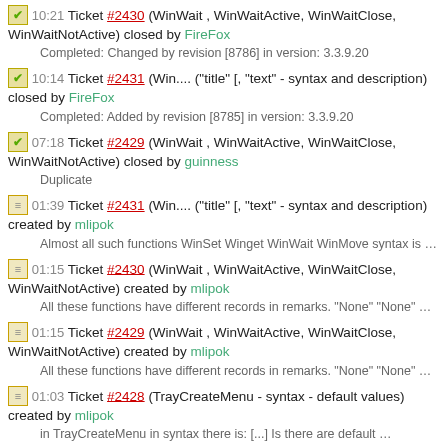10:21 Ticket #2430 (WinWait , WinWaitActive, WinWaitClose, WinWaitNotActive) closed by FireFox
Completed: Changed by revision [8786] in version: 3.3.9.20
10:14 Ticket #2431 (Win.... ("title" [, "text" - syntax and description) closed by FireFox
Completed: Added by revision [8785] in version: 3.3.9.20
07:18 Ticket #2429 (WinWait , WinWaitActive, WinWaitClose, WinWaitNotActive) closed by guinness
Duplicate
01:39 Ticket #2431 (Win.... ("title" [, "text" - syntax and description) created by mlipok
Almost all such functions WinSet Winget WinWait WinMove syntax is …
01:15 Ticket #2430 (WinWait , WinWaitActive, WinWaitClose, WinWaitNotActive) created by mlipok
All these functions have different records in remarks. "None" "None" …
01:15 Ticket #2429 (WinWait , WinWaitActive, WinWaitClose, WinWaitNotActive) created by mlipok
All these functions have different records in remarks. "None" "None" …
01:03 Ticket #2428 (TrayCreateMenu - syntax - default values) created by mlipok
in TrayCreateMenu in syntax there is: [...] Is there are default …
00:58 Ticket #2427 (ControlTreeView - option2 ??) created by mlipok